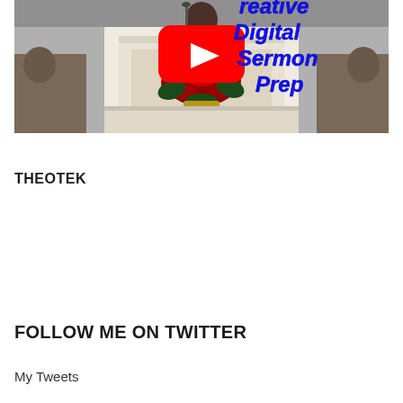[Figure (screenshot): YouTube video thumbnail showing a church pulpit with red poinsettia flowers, a person behind the pulpit, and blue italic bold text overlay reading 'Creative Digital Sermon Prep' with a YouTube play button icon in the center.]
THEOTEK
FOLLOW ME ON TWITTER
My Tweets